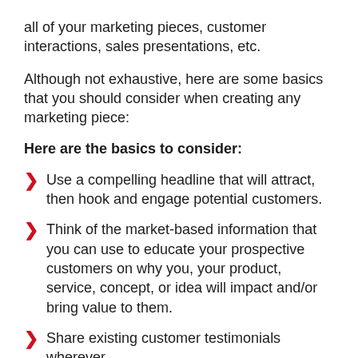all of your marketing pieces, customer interactions, sales presentations, etc.
Although not exhaustive, here are some basics that you should consider when creating any marketing piece:
Here are the basics to consider:
Use a compelling headline that will attract, then hook and engage potential customers.
Think of the market-based information that you can use to educate your prospective customers on why you, your product, service, concept, or idea will impact and/or bring value to them.
Share existing customer testimonials wherever